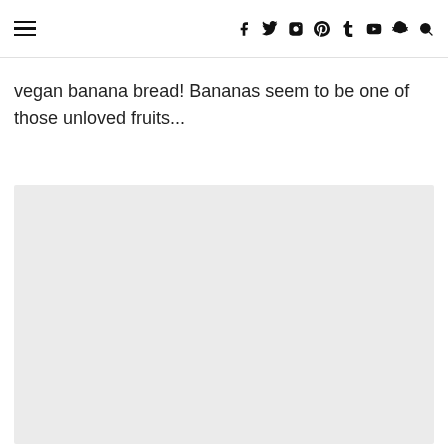≡  f  y  ⊙  ⊕  t  ▶  ◉  🔍
vegan banana bread! Bananas seem to be one of those unloved fruits...
[Figure (photo): Light grey placeholder rectangle representing a food photo]